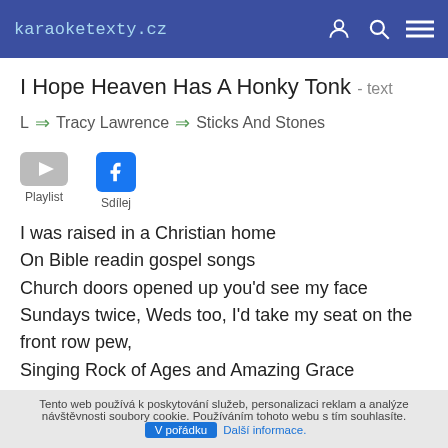karaoketexty.cz
I Hope Heaven Has A Honky Tonk - text
L → Tracy Lawrence → Sticks And Stones
[Figure (other): Playlist (YouTube-style icon) and Sdílej (Facebook share button)]
I was raised in a Christian home
On Bible readin gospel songs
Church doors opened up you'd see my face
Sundays twice, Weds too, I'd take my seat on the front row pew,
Singing Rock of Ages and Amazing Grace
Tento web používá k poskytování služeb, personalizaci reklam a analýze návštěvnosti soubory cookie. Používáním tohoto webu s tím souhlasíte. V pořádku Další informace.